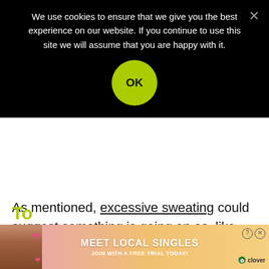We use cookies to ensure that we give you the best experience on our website. If you continue to use this site we will assume that you are happy with it.
OK
As mentioned, excessive sweating could suggest something is going on as, like most things on this list, it isn't natural to start sweating more than usual during a conversation.
[Figure (screenshot): Advertisement banner showing 'MEET LOCAL SINGLES - JOIN WITH A FREE TRIAL TODAY' with a photo of a woman and the Clover dating app logo]